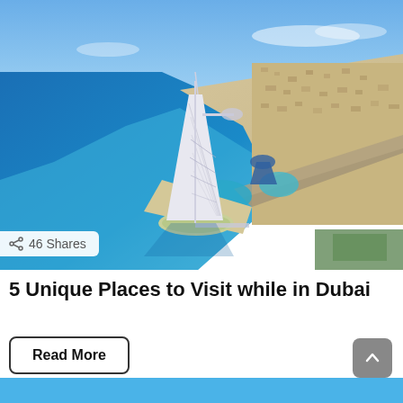[Figure (photo): Aerial photograph of Dubai coastline showing the Burj Al Arab hotel on a man-made island, with blue sea on the left and the city stretching to the right, sandy beaches, blue sky.]
46 Shares
5 Unique Places to Visit while in Dubai
Read More